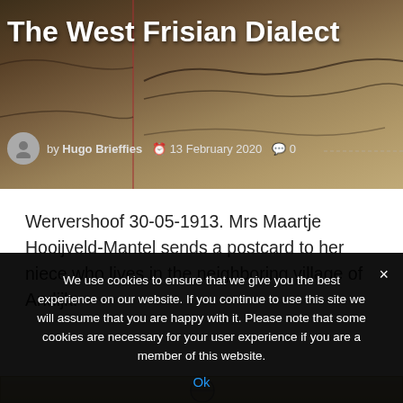[Figure (photo): Sepia-toned background image of an old handwritten document/letter with cursive script visible. A vertical red line is visible on the left portion of the image.]
The West Frisian Dialect
by Hugo Brieffies  13 February 2020  0
Wervershoof 30-05-1913. Mrs Maartje Hooijveld-Mantel sends a postcard to her niece who lives in the neighboring village of Andijk:
[Figure (photo): Partial view of an old postcard with a circular postmark/stamp visible.]
We use cookies to ensure that we give you the best experience on our website. If you continue to use this site we will assume that you are happy with it. Please note that some cookies are necessary for your user experience if you are a member of this website.
Ok